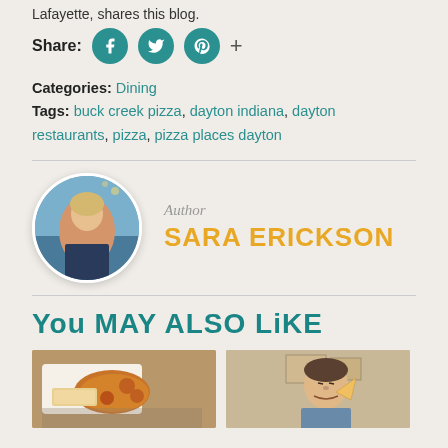Lafayette, shares this blog.
Share:
Categories: Dining
Tags: buck creek pizza, dayton indiana, dayton restaurants, pizza, pizza places dayton
Author
SARA ERICKSON
[Figure (photo): Circular author photo of Sara Erickson sitting at an outdoor restaurant]
You May Also Like
[Figure (photo): Food photo showing a sandwich with tater tots on a white plate]
[Figure (photo): Photo of a man eating pizza]